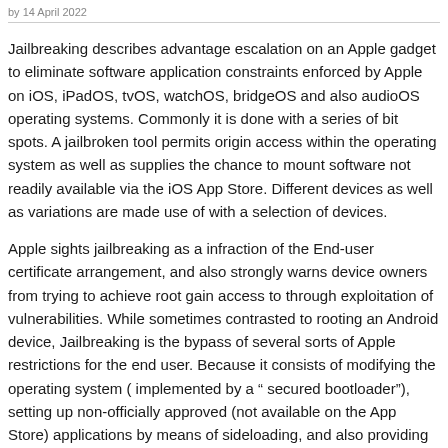by 14 April 2022
Jailbreaking describes advantage escalation on an Apple gadget to eliminate software application constraints enforced by Apple on iOS, iPadOS, tvOS, watchOS, bridgeOS and also audioOS operating systems. Commonly it is done with a series of bit spots. A jailbroken tool permits origin access within the operating system as well as supplies the chance to mount software not readily available via the iOS App Store. Different devices as well as variations are made use of with a selection of devices.
Apple sights jailbreaking as a infraction of the End-user certificate arrangement, and also strongly warns device owners from trying to achieve root gain access to through exploitation of vulnerabilities. While sometimes contrasted to rooting an Android device, Jailbreaking is the bypass of several sorts of Apple restrictions for the end user. Because it consists of modifying the operating system ( implemented by a “ secured bootloader”), setting up non-officially approved (not available on the App Store) applications by means of sideloading, and also providing the individual